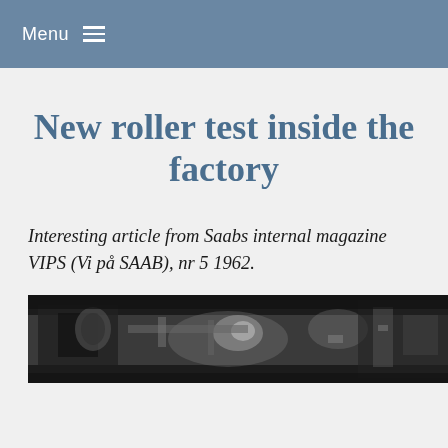Menu
New roller test inside the factory
Interesting article from Saabs internal magazine VIPS (Vi på SAAB), nr 5 1962.
[Figure (photo): Black and white photograph showing mechanical/industrial factory equipment, likely a roller test setup inside a factory.]